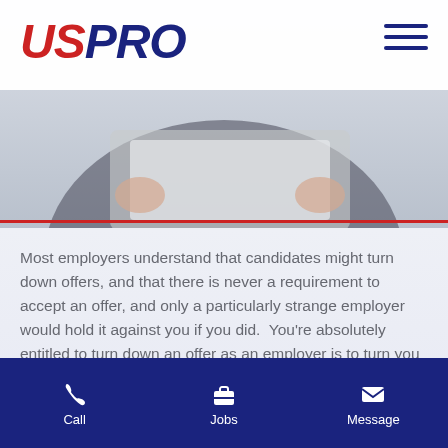[Figure (photo): A person holding a document or tablet in the background, with a white semi-transparent header bar overlay]
USPRO
Most employers understand that candidates might turn down offers, and that there is never a requirement to accept an offer, and only a particularly strange employer would hold it against you if you did.  You're absolutely entitled to turn down an offer as an employer is to turn you down, and reasonable people understand that.
Call | Jobs | Message